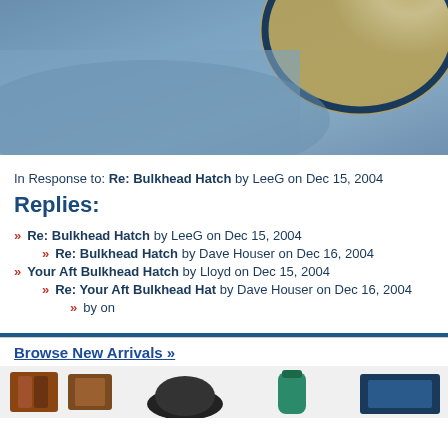[Figure (photo): Close-up photo of blue fleece fabric with wooden circular frame/hatch visible in upper right]
In Response to: Re: Bulkhead Hatch by LeeG on Dec 15, 2004
Replies:
» Re: Bulkhead Hatch by LeeG on Dec 15, 2004
» Re: Bulkhead Hatch by Dave Houser on Dec 16, 2004
» Your Aft Bulkhead Hatch by Lloyd on Dec 15, 2004
» Re: Your Aft Bulkhead Hat by Dave Houser on Dec 16, 2004
» by on
Browse New Arrivals »
[Figure (photo): Product images strip showing various outdoor/marine products]